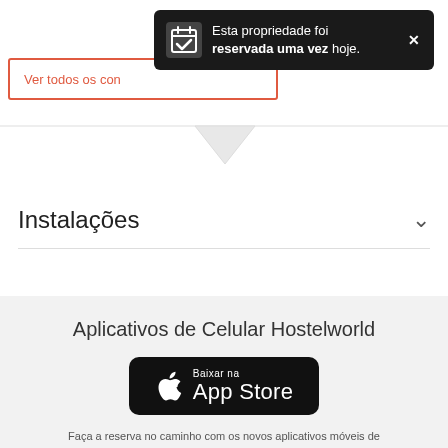[Figure (screenshot): Dark tooltip/notification bar showing: 'Esta propriedade foi reservada uma vez hoje.' with a calendar checkmark icon and a close X button]
Ver todos os con
[Figure (other): Chevron/arrow divider pointing downward with a horizontal line across the page]
Instalações
Aplicativos de Celular Hostelworld
[Figure (other): App Store download button — black rounded rectangle with Apple logo, 'Baixar na App Store']
Faça a reserva no caminho com os novos aplicativos móveis de